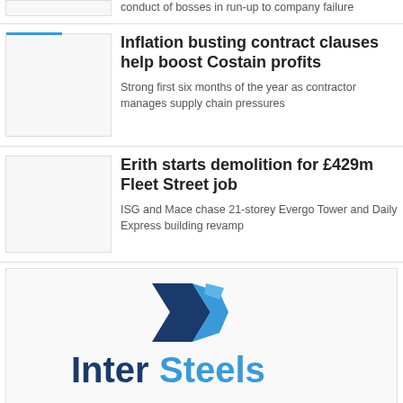conduct of bosses in run-up to company failure
Inflation busting contract clauses help boost Costain profits
Strong first six months of the year as contractor manages supply chain pressures
Erith starts demolition for £429m Fleet Street job
ISG and Mace chase 21-storey Evergo Tower and Daily Express building revamp
[Figure (logo): InterSteels company logo with blue geometric chevron/diamond shape above blue bold text reading InterSteels]